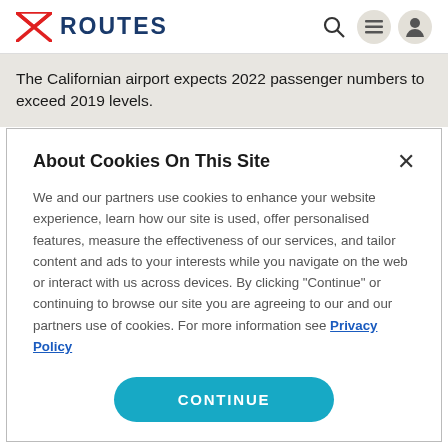[Figure (logo): Routes logo with red arrow/envelope icon and dark blue ROUTES text]
The Californian airport expects 2022 passenger numbers to exceed 2019 levels.
About Cookies On This Site
We and our partners use cookies to enhance your website experience, learn how our site is used, offer personalised features, measure the effectiveness of our services, and tailor content and ads to your interests while you navigate on the web or interact with us across devices. By clicking "Continue" or continuing to browse our site you are agreeing to our and our partners use of cookies. For more information see Privacy Policy